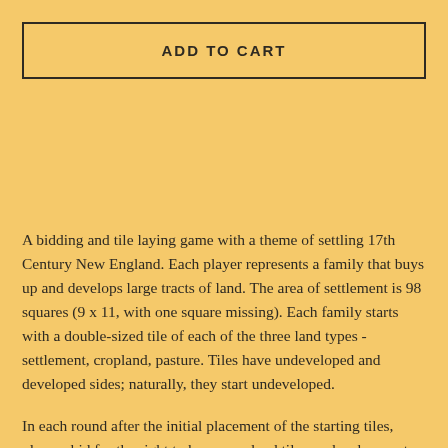ADD TO CART
A bidding and tile laying game with a theme of settling 17th Century New England. Each player represents a family that buys up and develops large tracts of land. The area of settlement is 98 squares (9 x 11, with one square missing). Each family starts with a double-sized tile of each of the three land types - settlement, cropland, pasture. Tiles have undeveloped and developed sides; naturally, they start undeveloped.
In each round after the initial placement of the starting tiles, players bid for the right to buy more land tiles or development cards - up to two per round. A total of 9 combined tiles and